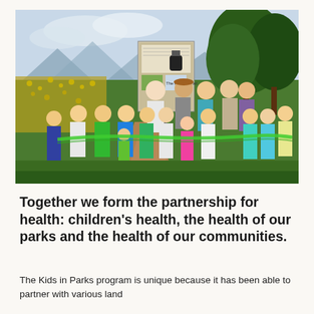[Figure (photo): Group photo of children and adults outdoors at a ribbon-cutting ceremony. Children are holding a green ribbon. There is a trail information sign/kiosk in the background, trees, mountains, and a yellow wildflower field.]
Together we form the partnership for health: children's health, the health of our parks and the health of our communities.
The Kids in Parks program is unique because it has been able to partner with various land